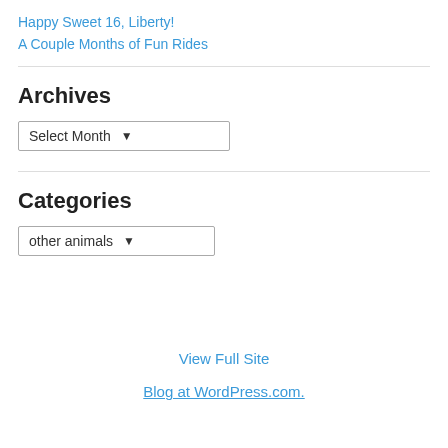Happy Sweet 16, Liberty!
A Couple Months of Fun Rides
Archives
Select Month [dropdown]
Categories
other animals [dropdown]
View Full Site
Blog at WordPress.com.